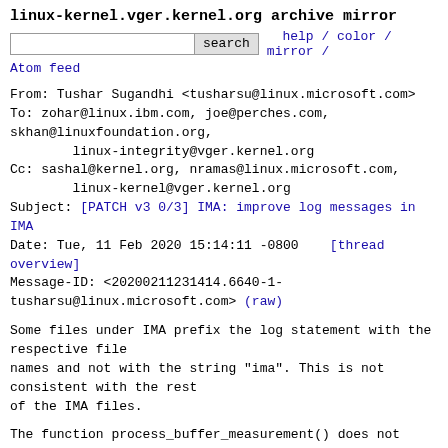linux-kernel.vger.kernel.org archive mirror
search  help / color / mirror / Atom feed
From: Tushar Sugandhi <tusharsu@linux.microsoft.com>
To: zohar@linux.ibm.com, joe@perches.com,
skhan@linuxfoundation.org,
        linux-integrity@vger.kernel.org
Cc: sashal@kernel.org, nramas@linux.microsoft.com,
        linux-kernel@vger.kernel.org
Subject: [PATCH v3 0/3] IMA: improve log messages in IMA
Date: Tue, 11 Feb 2020 15:14:11 -0800   [thread overview]
Message-ID: <20200211231414.6640-1-tusharsu@linux.microsoft.com> (raw)
Some files under IMA prefix the log statement with the respective file
names and not with the string "ima". This is not consistent with the rest
of the IMA files.
The function process_buffer_measurement() does not have log messages for
failure conditions.
The #define for formatting log messages, pr_fmt, is duplicated in the